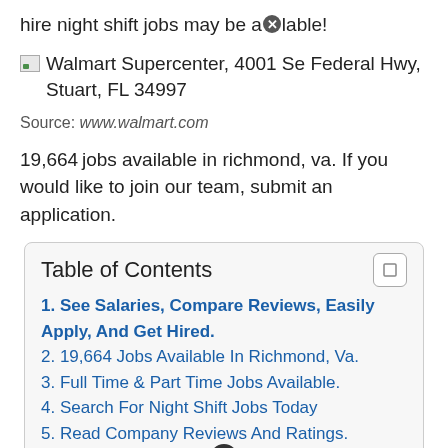hire night shift jobs may be available!
[Figure (illustration): Broken image icon followed by text: Walmart Supercenter, 4001 Se Federal Hwy, Stuart, FL 34997]
Source: www.walmart.com
19,664 jobs available in richmond, va. If you would like to join our team, submit an application.
Table of Contents
1. See Salaries, Compare Reviews, Easily Apply, And Get Hired.
2. 19,664 Jobs Available In Richmond, Va.
3. Full Time & Part Time Jobs Available.
4. Search For Night Shift Jobs Today
5. Read Company Reviews And Ratings.